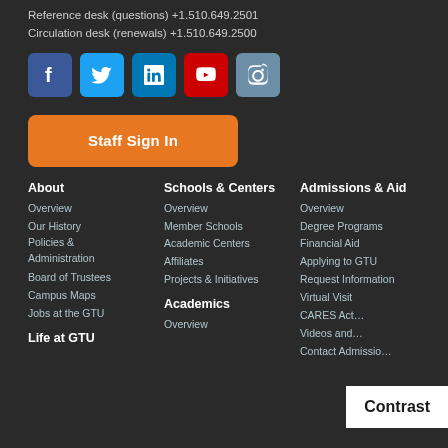Reference desk (questions) +1.510.649.2501
Circulation desk (renewals) +1.510.649.2500
[Figure (other): Social media icons: Facebook, Twitter, LinkedIn, YouTube, Instagram]
Staff Sign In
About
Overview
Our History
Policies & Administration
Board of Trustees
Campus Maps
Jobs at the GTU
Life at GTU
Schools & Centers
Overview
Member Schools
Academic Centers
Affiliates
Projects & Initiatives
Academics
Overview
Admissions & Aid
Overview
Degree Programs
Financial Aid
Applying to GTU
Request Information
Virtual Visit
CARES Act…
Videos and…
Contact Admissions